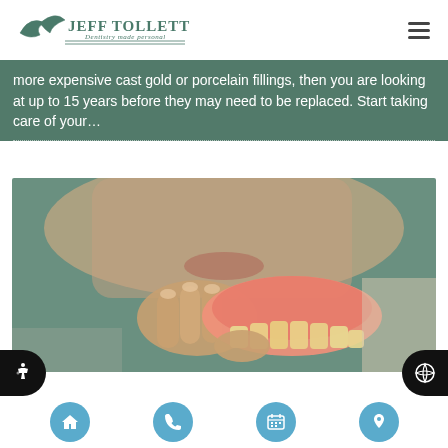Jeff Tollett DDS — Dentistry made personal
more expensive cast gold or porcelain fillings, then you are looking at up to 15 years before they may need to be replaced. Start taking care of your…
[Figure (photo): Person holding a full upper denture close to their face]
Navigation bar with home, phone, calendar, and location icons